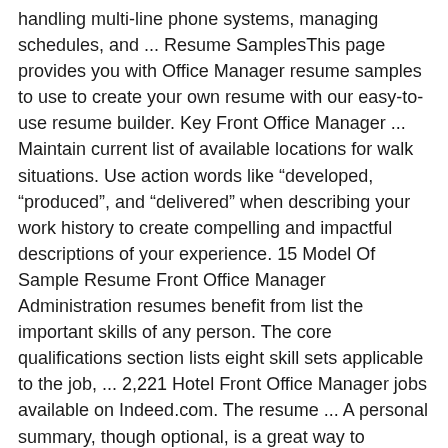handling multi-line phone systems, managing schedules, and ... Resume SamplesThis page provides you with Office Manager resume samples to use to create your own resume with our easy-to-use resume builder. Key Front Office Manager ... Maintain current list of available locations for walk situations. Use action words like “developed, “produced”, and “delivered” when describing your work history to create compelling and impactful descriptions of your experience. 15 Model Of Sample Resume Front Office Manager Administration resumes benefit from list the important skills of any person. The core qualifications section lists eight skill sets applicable to the job, ... 2,221 Hotel Front Office Manager jobs available on Indeed.com. The resume ... A personal summary, though optional, is a great way to introduce yourself to an employer with your resume. This free front office manager job description sample template can help you attract an innovative and experienced front office manager to your company. All rights reserved. ... A good resume should be easy to read and tailored to your current career goals. Application Letter Cover Letter For Office Manager Resume